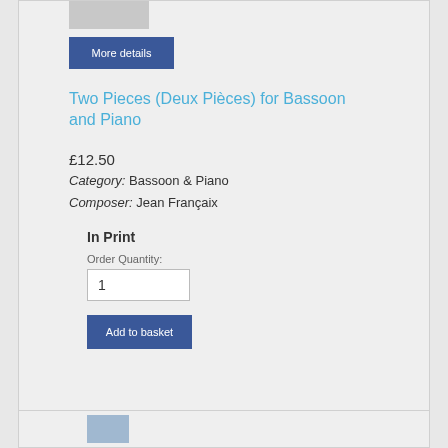[Figure (photo): Product thumbnail image of sheet music cover]
More details
Two Pieces (Deux Pièces) for Bassoon and Piano
£12.50
Category: Bassoon & Piano
Composer: Jean Françaix
In Print
Order Quantity:
1
Add to basket
[Figure (photo): Second product thumbnail image partially visible at bottom]